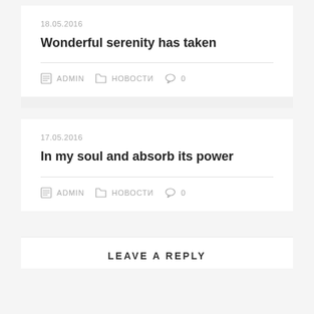18.05.2016
Wonderful serenity has taken
ADMIN   НОВОСТИ   0
17.05.2016
In my soul and absorb its power
ADMIN   НОВОСТИ   0
LEAVE A REPLY